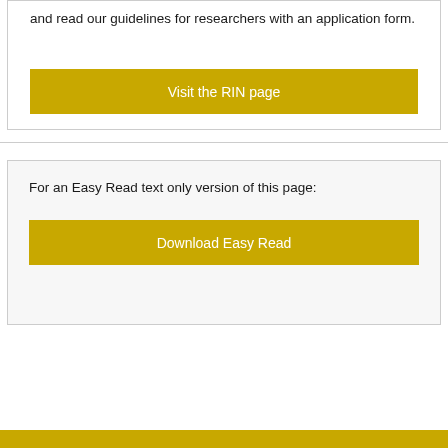and read our guidelines for researchers with an application form.
Visit the RIN page
For an Easy Read text only version of this page:
Download Easy Read